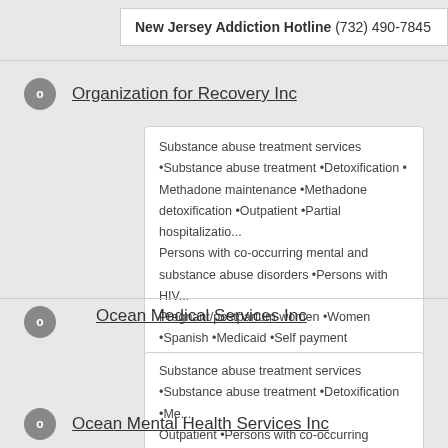New Jersey Addiction Hotline (732) 490-7845
Organization for Recovery Inc
Substance abuse treatment services •Substance abuse treatment •Detoxification • Methadone maintenance •Methadone detoxification •Outpatient •Partial hospitalizatio... Persons with co-occurring mental and substance abuse disorders •Persons with HIV... Pregnant/postpartum women •Women •Spanish •Medicaid •Self payment
Ocean Medical Services Inc
Substance abuse treatment services •Substance abuse treatment •Detoxification •Me... Outpatient •Persons with co-occurring mental and substance abuse disorders •Perso...
Ocean Mental Health Services Inc